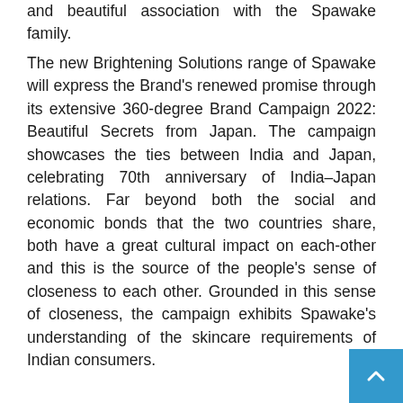and beautiful association with the Spawake family.
The new Brightening Solutions range of Spawake will express the Brand's renewed promise through its extensive 360-degree Brand Campaign 2022: Beautiful Secrets from Japan. The campaign showcases the ties between India and Japan, celebrating 70th anniversary of India–Japan relations. Far beyond both the social and economic bonds that the two countries share, both have a great cultural impact on each-other and this is the source of the people's sense of closeness to each other. Grounded in this sense of closeness, the campaign exhibits Spawake's understanding of the skincare requirements of Indian consumers.